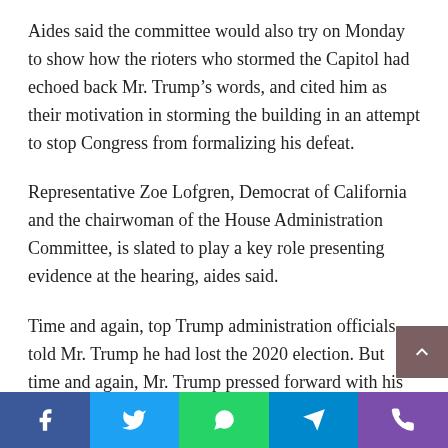Aides said the committee would also try on Monday to show how the rioters who stormed the Capitol had echoed back Mr. Trump’s words, and cited him as their motivation in storming the building in an attempt to stop Congress from formalizing his defeat.
Representative Zoe Lofgren, Democrat of California and the chairwoman of the House Administration Committee, is slated to play a key role presenting evidence at the hearing, aides said.
Time and again, top Trump administration officials told Mr. Trump he had lost the 2020 election. But time and again, Mr. Trump pressed forward with his lies of widespread fraud.